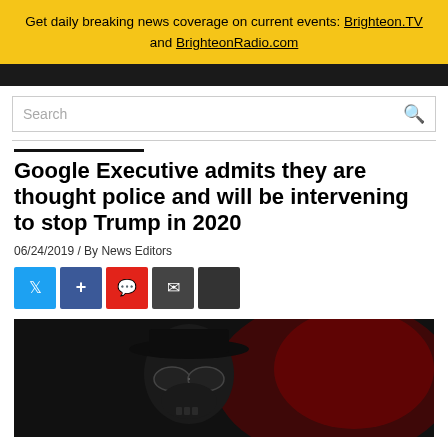Get daily breaking news coverage on current events: Brighteon.TV and BrighteonRadio.com
Google Executive admits they are thought police and will be intervening to stop Trump in 2020
06/24/2019 / By News Editors
[Figure (illustration): Dark atmospheric image of a shadowy skull-like figure with sunglasses and a hat, with red map overlay in background]